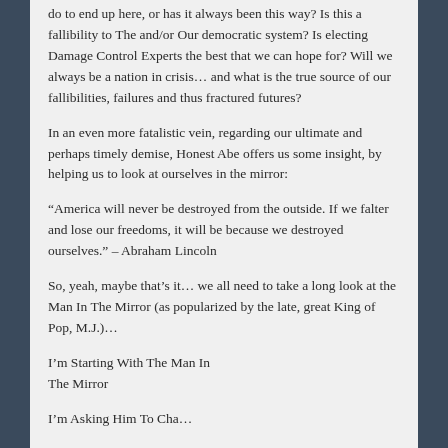do to end up here, or has it always been this way? Is this a fallibility to The and/or Our democratic system? Is electing Damage Control Experts the best that we can hope for? Will we always be a nation in crisis… and what is the true source of our fallibilities, failures and thus fractured futures?
In an even more fatalistic vein, regarding our ultimate and perhaps timely demise, Honest Abe offers us some insight, by helping us to look at ourselves in the mirror:
“America will never be destroyed from the outside. If we falter and lose our freedoms, it will be because we destroyed ourselves.” – Abraham Lincoln
So, yeah, maybe that’s it… we all need to take a long look at the Man In The Mirror (as popularized by the late, great King of Pop, M.J.)…
I’m Starting With The Man In The Mirror
I’m Asking Him To Cha…